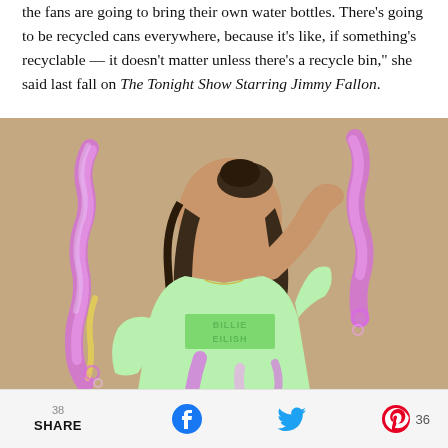the fans are going to bring their own water bottles. There's going to be recycled cans everywhere, because it's like, if something's recyclable — it doesn't matter unless there's a recycle bin," she said last fall on The Tonight Show Starring Jimmy Fallon.
[Figure (photo): Photo of a young woman with dark hair in a high bun, wearing a light mint green sweatshirt with 'Billie Eilish' text on the front, posing against a beige background with colorful iridescent paint splashes around her.]
38  SHARE  [Facebook icon]  [Twitter icon]  [Pinterest icon]  36